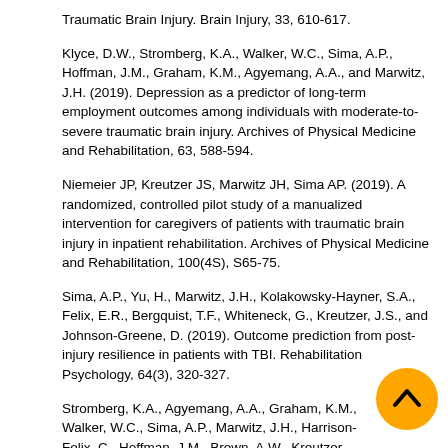Traumatic Brain Injury. Brain Injury, 33, 610-617.
Klyce, D.W., Stromberg, K.A., Walker, W.C., Sima, A.P., Hoffman, J.M., Graham, K.M., Agyemang, A.A., and Marwitz, J.H. (2019). Depression as a predictor of long-term employment outcomes among individuals with moderate-to-severe traumatic brain injury. Archives of Physical Medicine and Rehabilitation, 63, 588-594.
Niemeier JP, Kreutzer JS, Marwitz JH, Sima AP. (2019). A randomized, controlled pilot study of a manualized intervention for caregivers of patients with traumatic brain injury in inpatient rehabilitation. Archives of Physical Medicine and Rehabilitation, 100(4S), S65-75.
Sima, A.P., Yu, H., Marwitz, J.H., Kolakowsky-Hayner, S.A., Felix, E.R., Bergquist, T.F., Whiteneck, G., Kreutzer, J.S., and Johnson-Greene, D. (2019). Outcome prediction from post-injury resilience in patients with TBI. Rehabilitation Psychology, 64(3), 320-327.
Stromberg, K.A., Agyemang, A.A., Graham, K.M., Walker, W.C., Sima, A.P., Marwitz, J.H., Harrison-Felix, C., Hoffman, J.M., Brown, A.W., Kreutzer, J.S., Merchant, R. (2019). Using Decision Tree Methodology to Predict Employment after Moderate to Severe Traumatic Brain Injury. Journal of Head Trauma Rehabilitation, 34, E64-74.